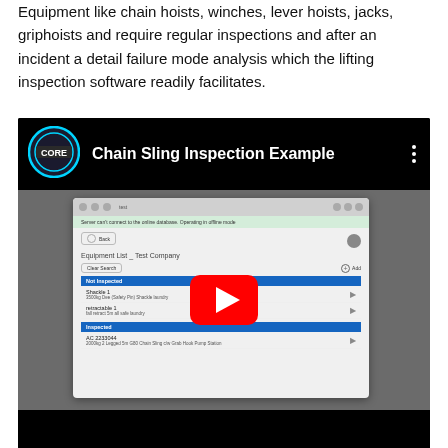Equipment like chain hoists, winches, lever hoists, jacks, griphoists and require regular inspections and after an incident a detail failure mode analysis which the lifting inspection software readily facilitates.
[Figure (screenshot): YouTube-style video embed showing 'Chain Sling Inspection Example' with CORE logo, featuring a screenshot of lifting inspection software app with equipment list showing 'Not Inspected' and 'Inspected' categories, with a red YouTube play button overlay. The software shows Equipment List for Test Company with items like Shackle 1 and retractable 1 under Not Inspected, and AC 2233044 under Inspected.]